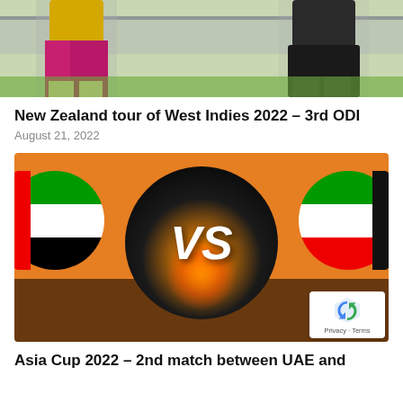[Figure (photo): Cricket players lower body visible, one in pink/maroon shorts with yellow top, one in black tracksuit, standing on a cricket field]
New Zealand tour of West Indies 2022 – 3rd ODI
August 21, 2022
[Figure (illustration): VS graphic with orange background, large dark circle in center with VS text in white, UAE flag circle on left, Kuwait flag circle on right, bottom dark overlay, reCAPTCHA badge in bottom right corner]
Asia Cup 2022 – 2nd match between UAE and